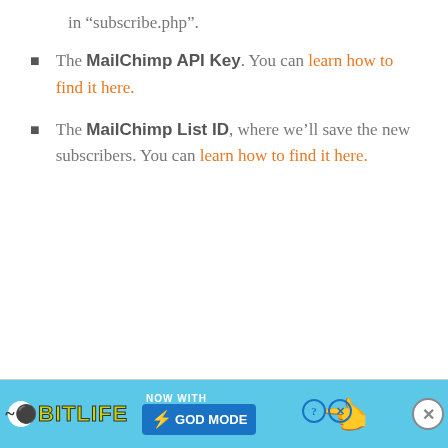in “subscribe.php”.
The MailChimp API Key. You can learn how to find it here.
The MailChimp List ID, where we’ll save the new subscribers. You can learn how to find it here.
[Figure (other): BitLife advertisement banner: sky blue background with BitLife logo, text 'NOW WITH GOD MODE', pointing hand illustration, and close button.]